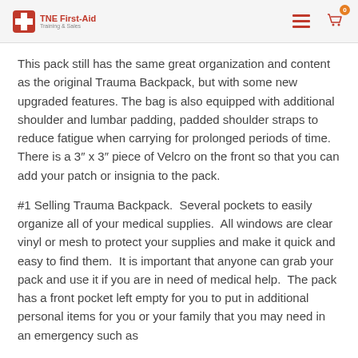TNE First-Aid Training & Sales
This pack still has the same great organization and content as the original Trauma Backpack, but with some new upgraded features. The bag is also equipped with additional shoulder and lumbar padding, padded shoulder straps to reduce fatigue when carrying for prolonged periods of time. There is a 3″ x 3″ piece of Velcro on the front so that you can add your patch or insignia to the pack.
#1 Selling Trauma Backpack.  Several pockets to easily organize all of your medical supplies.  All windows are clear vinyl or mesh to protect your supplies and make it quick and easy to find them.  It is important that anyone can grab your pack and use it if you are in need of medical help.  The pack has a front pocket left empty for you to put in additional personal items for you or your family that you may need in an emergency such as